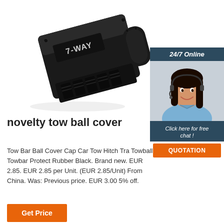[Figure (photo): Black 7-WAY tow bar connector/socket with ribbed pins, shown at an angle on white background]
[Figure (infographic): 24/7 Online chat widget with dark blue header, photo of smiling female customer service agent with headset, dark blue panel with 'Click here for free chat!' text, and orange QUOTATION button]
novelty tow ball cover
Tow Bar Ball Cover Cap Car Tow Hitch Tra Towball Towbar Protect Rubber Black. Brand new. EUR 2.85. EUR 2.85 per Unit. (EUR 2.85/Unit) From China. Was: Previous price. EUR 3.00 5% off.
Get Price